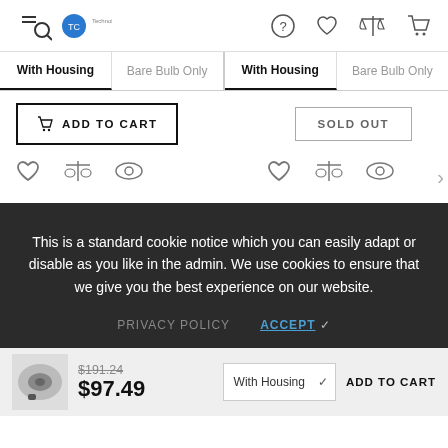Navigation bar with menu/search icon, logo, help icon, wishlist icon, compare icon, cart icon
With Housing | Bare Bulb Only | With Housing | Bare Bulb Only
ADD TO CART | SOLD OUT
Wishlist, Compare, View icons (two groups)
This is a standard cookie notice which you can easily adapt or disable as you like in the admin. We use cookies to ensure that we give you the best experience on our website.
PRIVACY POLICY   ACCEPT ✓
$191.24  $97.49  With Housing  ADD TO CART